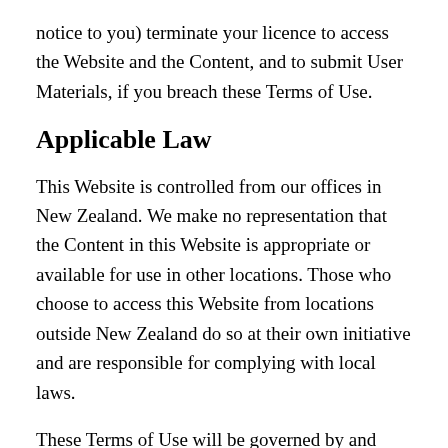notice to you) terminate your licence to access the Website and the Content, and to submit User Materials, if you breach these Terms of Use.
Applicable Law
This Website is controlled from our offices in New Zealand. We make no representation that the Content in this Website is appropriate or available for use in other locations. Those who choose to access this Website from locations outside New Zealand do so at their own initiative and are responsible for complying with local laws.
These Terms of Use will be governed by and construed in accordance with the laws of New Zealand. You irrevocably and unconditionally submit